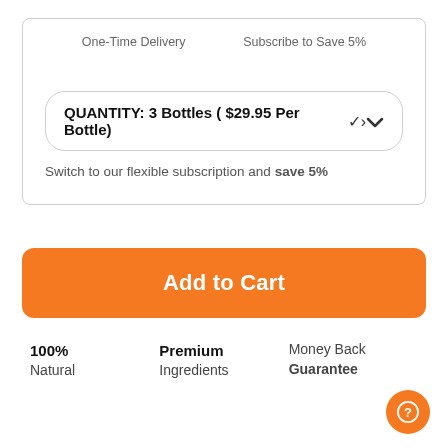One-Time Delivery | Subscribe to Save 5%
QUANTITY: 3 Bottles ( $29.95 Per Bottle)
Switch to our flexible subscription and save 5%
Add to Cart
100% Natural
Premium Ingredients
Money Back Guarantee